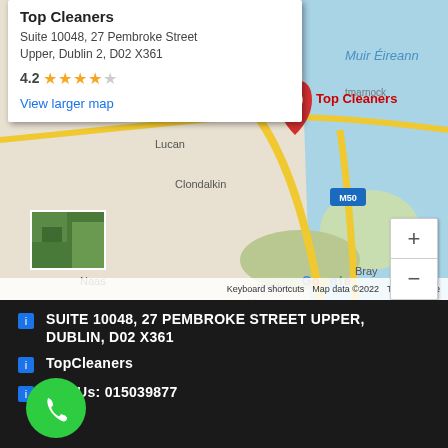[Figure (map): Google Map showing Dublin, Ireland area with a red pin marker labeled 'Top Cleaners' near central Dublin. Map shows surrounding areas including Lucan, Clondalkin, Naas, Blessington, Wicklow Mountains National Park, Bray, Greystones, and Muir Éireann (Irish Sea). M50 motorway visible. Info popup shows 'Top Cleaners', address 'Suite 10048, 27 Pembroke Street Upper, Dublin 2, D02 X361', rating 4.2 stars, and 'View larger map' link.]
SUITE 10048, 27 PEMBROKE STREET UPPER, DUBLIN, D02 X361
TopCleaners
Call Us: 015039877